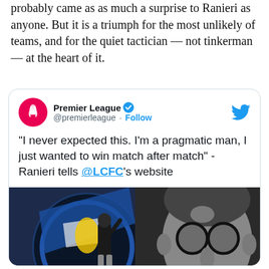probably came as as much a surprise to Ranieri as anyone. But it is a triumph for the most unlikely of teams, and for the quiet tactician — not tinkerman — at the heart of it.
[Figure (screenshot): Embedded tweet from @premierleague showing a quote from Ranieri: 'I never expected this. I'm a pragmatic man, I just wanted to win match after match' - Ranieri tells @LCFC's website. Below the tweet text is a photo of a person painting a large mural featuring the Leicester City badge on the left and a black-and-white portrait of Ranieri (man with glasses) on the right.]